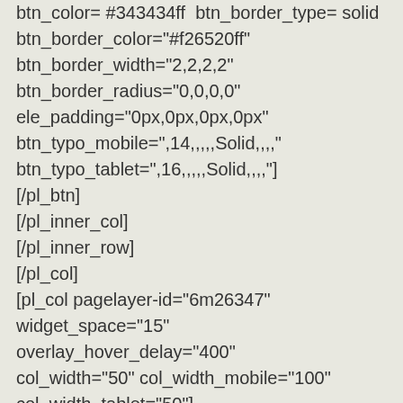btn_color= #343434ff  btn_border_type= solid btn_border_color="#f26520ff" btn_border_width="2,2,2,2" btn_border_radius="0,0,0,0" ele_padding="0px,0px,0px,0px" btn_typo_mobile=",14,,,,,Solid,,,," btn_typo_tablet=",16,,,,,Solid,,,,"] [/pl_btn] [/pl_inner_col] [/pl_inner_row] [/pl_col] [pl_col pagelayer-id="6m26347" widget_space="15" overlay_hover_delay="400" col_width="50" col_width_mobile="100" col_width_tablet="50"] [pl_inner_row pagelayer-id="dpy6101" stretch="auto" col_gap="10"